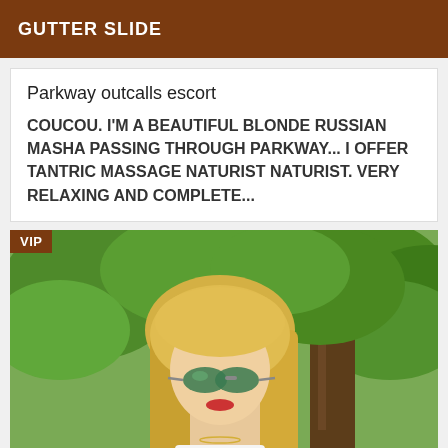GUTTER SLIDE
Parkway outcalls escort
COUCOU. I'M A BEAUTIFUL BLONDE RUSSIAN MASHA PASSING THROUGH PARKWAY... I OFFER TANTRIC MASSAGE NATURIST NATURIST. VERY RELAXING AND COMPLETE...
[Figure (photo): Photo of a blonde woman wearing sunglasses outdoors near a tree with green foliage. A VIP badge appears in the top-left corner.]